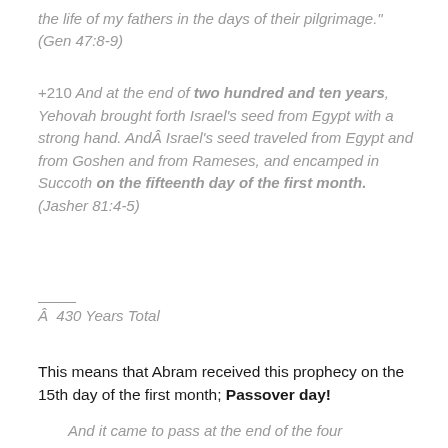the life of my fathers in the days of their pilgrimage." (Gen 47:8-9)
+210 And at the end of two hundred and ten years, Yehovah brought forth Israel’s seed from Egypt with a strong hand. AndÂ Israel’s seed traveled from Egypt and from Goshen and from Rameses, and encamped in Succoth on the fifteenth day of the first month. (Jasher 81:4-5)
Â  430 Years Total
This means that Abram received this prophecy on the 15th day of the first month; Passover day!
And it came to pass at the end of the four